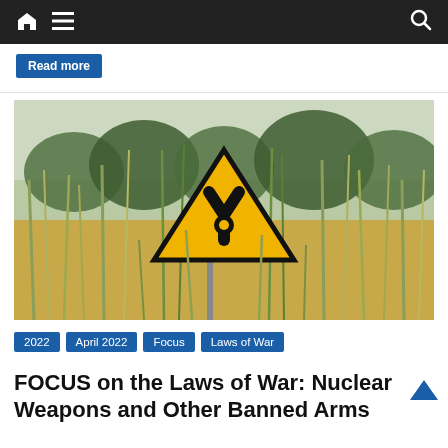Navigation bar with home, menu, and search icons
Read more
[Figure (photo): A yellow triangular radiation warning sign standing in a field of tall dry grass and green reeds, with trees in the blurred background.]
2022
April 2022
Focus
Laws of War
FOCUS on the Laws of War: Nuclear Weapons and Other Banned Arms